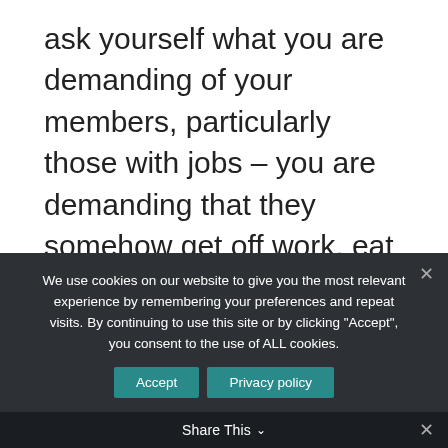ask yourself what you are demanding of your members, particularly those with jobs – you are demanding that they somehow get off work, eat dinner and then run to lodge. For many of those employed this is impossible.
6) Act civil towards every human being. You don't have all the answers. New members generally add vitality, and a
We use cookies on our website to give you the most relevant experience by remembering your preferences and repeat visits. By continuing to use this site or by clicking "Accept", you consent to the use of ALL cookies.
Share This